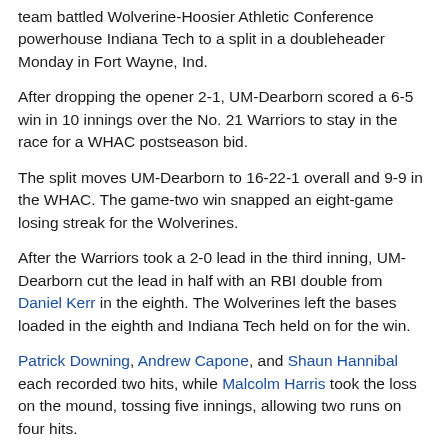team battled Wolverine-Hoosier Athletic Conference powerhouse Indiana Tech to a split in a doubleheader Monday in Fort Wayne, Ind.
After dropping the opener 2-1, UM-Dearborn scored a 6-5 win in 10 innings over the No. 21 Warriors to stay in the race for a WHAC postseason bid.
The split moves UM-Dearborn to 16-22-1 overall and 9-9 in the WHAC. The game-two win snapped an eight-game losing streak for the Wolverines.
After the Warriors took a 2-0 lead in the third inning, UM-Dearborn cut the lead in half with an RBI double from Daniel Kerr in the eighth. The Wolverines left the bases loaded in the eighth and Indiana Tech held on for the win.
Patrick Downing, Andrew Capone, and Shaun Hannibal each recorded two hits, while Malcolm Harris took the loss on the mound, tossing five innings, allowing two runs on four hits.
An error and a wild pitch in the third inning of game two gave the Wolverines a 2-1 lead, but the Warriors answered with a two-run home run in the bottom of the inning to regain the advantage.